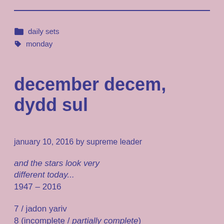────────────────────
📁 daily sets
🏷 monday
december decem, dydd sul
january 10, 2016 by supreme leader
and the stars look very different today...
1947 – 2016
7 / jadon yariv
8 (incomplete / partially complete)